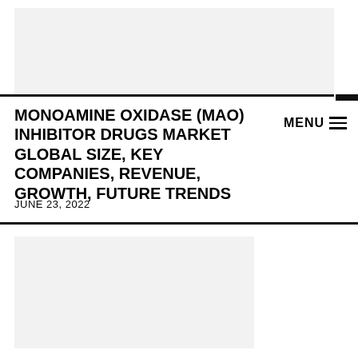[Figure (other): Light gray header image placeholder area at top of page]
MONOAMINE OXIDASE (MAO) INHIBITOR DRUGS MARKET GLOBAL SIZE, KEY COMPANIES, REVENUE, GROWTH, FUTURE TRENDS
MENU ≡
JUNE 23, 2022
[Figure (other): Light gray image placeholder area at bottom of page]